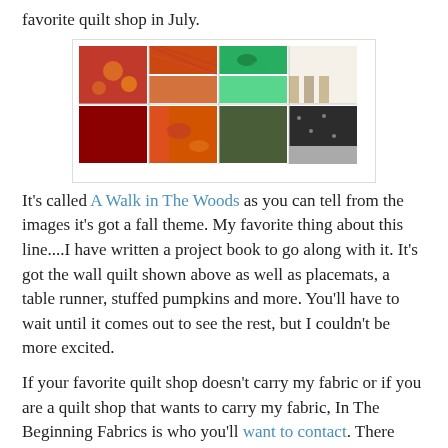favorite quilt shop in July.
[Figure (photo): Collage of fall-themed quilt fabric swatches in autumn colors — orange, red, green, brown, black, and cream patterns including florals, plaids, stripes, and novelty prints.]
It's called A Walk in The Woods as you can tell from the images it's got a fall theme. My favorite thing about this line....I have written a project book to go along with it. It's got the wall quilt shown above as well as placemats, a table runner, stuffed pumpkins and more. You'll have to wait until it comes out to see the rest, but I couldn't be more excited.
If your favorite quilt shop doesn't carry my fabric or if you are a quilt shop that wants to carry my fabric, In The Beginning Fabrics is who you'll want to contact. There wholesale information is here or you can print this page out and take it in to your shop.